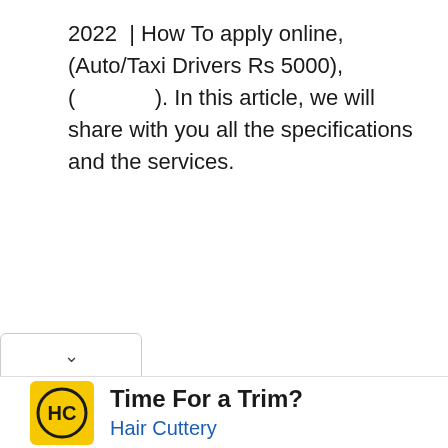2022  | How To apply online, (Auto/Taxi Drivers Rs 5000), (              ). In this article, we will share with you all the specifications and the services.
[Figure (screenshot): A collapsed UI panel with a chevron/down-arrow button at the bottom of the content area]
[Figure (infographic): Advertisement banner for Hair Cuttery featuring yellow HC logo, text 'Time For a Trim?' and 'Hair Cuttery' in blue, with a blue navigation arrow icon on the right. Close/play controls on the far left.]